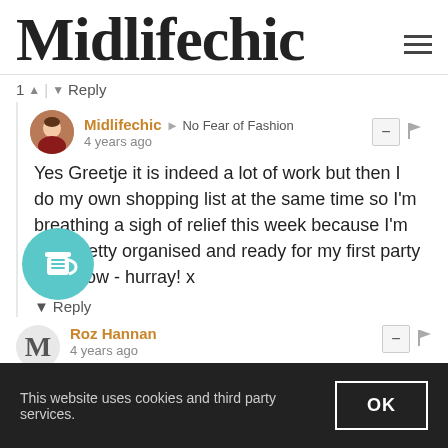Midlifechic
1 ↑ | ↓ Reply
Midlifechic → No Fear of Fashion
4 years ago
Yes Greetje it is indeed a lot of work but then I do my own shopping list at the same time so I'm breathing a sigh of relief this week because I'm now pretty organised and ready for my first party tomorrow - hurray! x
↓ Reply
Roz Hannan
4 years ago
This website uses cookies and third party services.